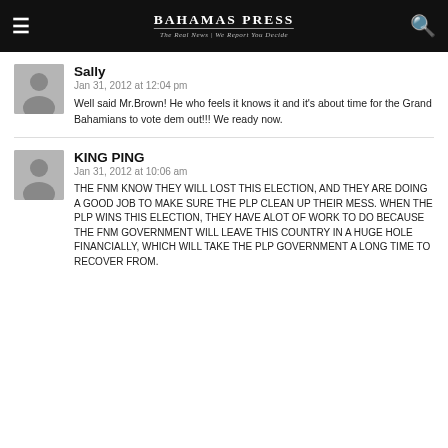Bahamas Press — The Real News | We Report You Decide
Sally
Jan 31, 2012 at 12:04 pm
Well said Mr.Brown! He who feels it knows it and it's about time for the Grand Bahamians to vote dem out!!! We ready now.
KING PING
Jan 31, 2012 at 10:06 am
THE FNM KNOW THEY WILL LOST THIS ELECTION, AND THEY ARE DOING A GOOD JOB TO MAKE SURE THE PLP CLEAN UP THEIR MESS. WHEN THE PLP WINS THIS ELECTION, THEY HAVE ALOT OF WORK TO DO BECAUSE THE FNM GOVERNMENT WILL LEAVE THIS COUNTRY IN A HUGE HOLE FINANCIALLY, WHICH WILL TAKE THE PLP GOVERNMENT A LONG TIME TO RECOVER FROM.